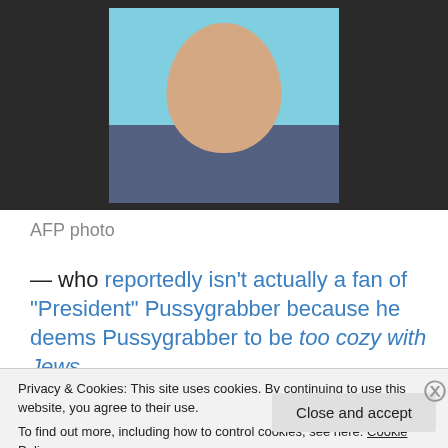[Figure (photo): A man's face photo (ID/license style) against a light blue background, centered in a dark gray/black wider frame. Subject appears to be a white male, wearing a gray/blue shirt, facing forward.]
AFP photo
— who reportedly isn't actually a fan of “President” Pussygrabber because he deems Pussygrabber to be too cozy with Jews.
(I don't get anti-Semitism. I am an atheist and so I reject
Privacy & Cookies: This site uses cookies. By continuing to use this website, you agree to their use.
To find out more, including how to control cookies, see here: Cookie Policy